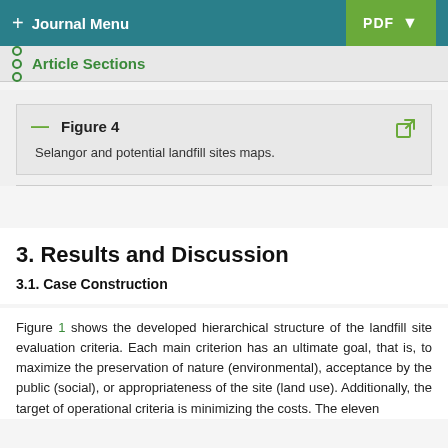+ Journal Menu   PDF ↓
Article Sections
Figure 4
Selangor and potential landfill sites maps.
3. Results and Discussion
3.1. Case Construction
Figure 1 shows the developed hierarchical structure of the landfill site evaluation criteria. Each main criterion has an ultimate goal, that is, to maximize the preservation of nature (environmental), acceptance by the public (social), or appropriateness of the site (land use). Additionally, the target of operational criteria is minimizing the costs. The eleven